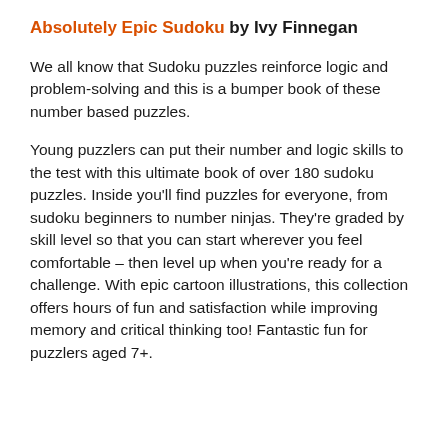Absolutely Epic Sudoku by Ivy Finnegan
We all know that Sudoku puzzles reinforce logic and problem-solving and this is a bumper book of these number based puzzles.
Young puzzlers can put their number and logic skills to the test with this ultimate book of over 180 sudoku puzzles. Inside you’ll find puzzles for everyone, from sudoku beginners to number ninjas. They’re graded by skill level so that you can start wherever you feel comfortable – then level up when you’re ready for a challenge. With epic cartoon illustrations, this collection offers hours of fun and satisfaction while improving memory and critical thinking too! Fantastic fun for puzzlers aged 7+.